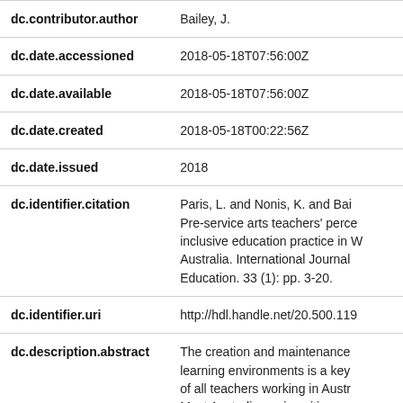| Field | Value |
| --- | --- |
| dc.contributor.author | Bailey, J. |
| dc.date.accessioned | 2018-05-18T07:56:00Z |
| dc.date.available | 2018-05-18T07:56:00Z |
| dc.date.created | 2018-05-18T00:22:56Z |
| dc.date.issued | 2018 |
| dc.identifier.citation | Paris, L. and Nonis, K. and Bai… Pre-service arts teachers' perce… inclusive education practice in … Australia. International Journal … Education. 33 (1): pp. 3-20. |
| dc.identifier.uri | http://hdl.handle.net/20.500.119… |
| dc.description.abstract | The creation and maintenance … learning environments is a key … of all teachers working in Austr… Most Australian universities em… |